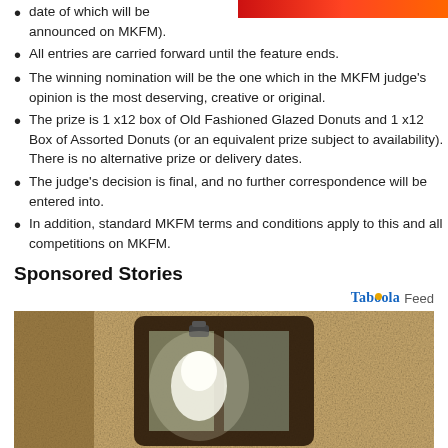[Figure (photo): Red graphic/image partially visible at top right corner]
date of which will be announced on MKFM).
All entries are carried forward until the feature ends.
The winning nomination will be the one which in the MKFM judge's opinion is the most deserving, creative or original.
The prize is 1 x12 box of Old Fashioned Glazed Donuts and 1 x12 Box of Assorted Donuts (or an equivalent prize subject to availability). There is no alternative prize or delivery dates.
The judge's decision is final, and no further correspondence will be entered into.
In addition, standard MKFM terms and conditions apply to this and all competitions on MKFM.
Sponsored Stories
Taboola Feed
[Figure (photo): Photo of a wall-mounted outdoor lantern light fixture with a white LED bulb, mounted on a textured stucco wall]